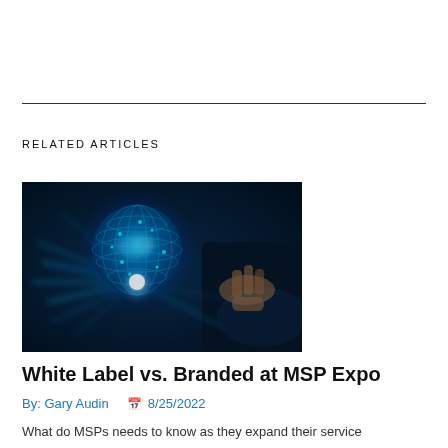RELATED ARTICLES
[Figure (photo): A glowing blue digital globe being touched by a hand, with light rays and data streaks emanating from it against a dark blue background.]
White Label vs. Branded at MSP Expo
By: Gary Audin  📅 8/25/2022
What do MSPs needs to know as they expand their service